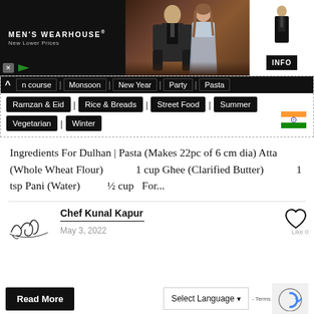[Figure (photo): Men's Wearhouse advertisement banner showing a couple in formal wedding attire and a man in a tuxedo, with INFO button. Text: MEN'S WEARHOUSE New Lower Prices]
n course | Monsoon | New Year | Party | Pasta
Ramzan & Eid | Rice & Breads | Street Food | Summer
Vegetarian | Winter
[Figure (illustration): Indian flag emoji]
Ingredients For Dulhan | Pasta (Makes 22pc of 6 cm dia) Atta (Whole Wheat Flour)                    1 cup Ghee (Clarified Butter)                    1 tsp Pani (Water)                    ½ cup   For...
[Figure (illustration): Handwritten signature of Chef Kunal Kapur]
Chef Kunal Kapur
May 3, 2022
Read More
Select Language ▾
- Terms